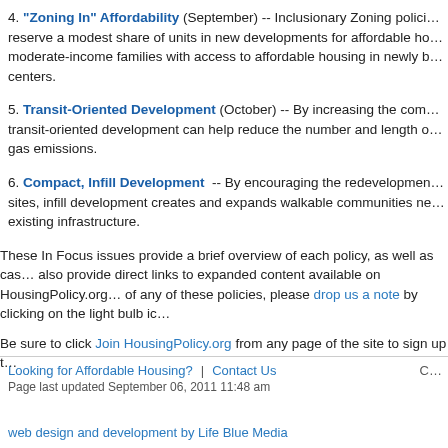4. "Zoning In" Affordability (September) -- Inclusionary Zoning policies reserve a modest share of units in new developments for affordable housing, providing moderate-income families with access to affordable housing in newly built activity centers.
5. Transit-Oriented Development (October) -- By increasing the compact, transit-oriented development can help reduce the number and length of trips and green gas emissions.
6. Compact, Infill Development -- By encouraging the redevelopment of underused sites, infill development creates and expands walkable communities near jobs and existing infrastructure.
These In Focus issues provide a brief overview of each policy, as well as case studies, also provide direct links to expanded content available on HousingPolicy.org. If you know of any of these policies, please drop us a note by clicking on the light bulb icon.
Be sure to click Join HousingPolicy.org from any page of the site to sign up to receive updates.
Looking for Affordable Housing?  |  Contact Us
Page last updated September 06, 2011 11:48 am
web design and development by Life Blue Media